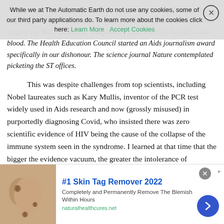Times editor. These heresies persisted. By exposing Aids heresies, the response was censorship, suppression and ridicule. Other mass media, notably the BBC, Guardian, Independent and Observer, bayed for our blood. The Health Education Council started an Aids journalism award specifically in our dishonour. The science journal Nature contemplated picketing the ST offices.
This was despite challenges from top scientists, including Nobel laureates such as Kary Mullis, inventor of the PCR test widely used in Aids research and now (grossly misused) in purportedly diagnosing Covid, who insisted there was zero scientific evidence of HIV being the cause of the collapse of the immune system seen in the syndrome. I learned at that time that the bigger the evidence vacuum, the greater the intolerance of dissenting views and the tighter the attempted mind control.
[Figure (other): Cookie consent banner overlay with text about The Automatic Earth not using cookies, third party applications do, with Learn More and Accept Cookies links.]
[Figure (other): Advertisement banner for #1 Skin Tag Remover 2022 - Completely and Permanently Remove The Blemish Within Hours - naturalhealthcures.net, with skin photo and blue arrow button.]